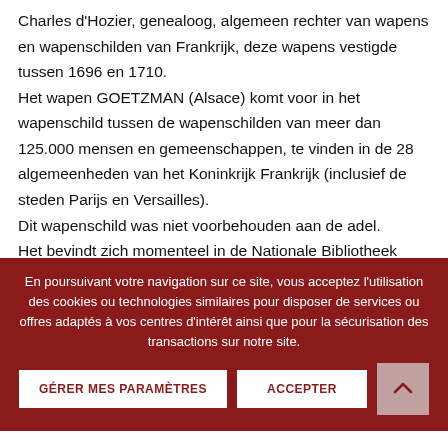Charles d'Hozier, genealoog, algemeen rechter van wapens en wapenschilden van Frankrijk, deze wapens vestigde tussen 1696 en 1710.
Het wapen GOETZMAN (Alsace) komt voor in het wapenschild tussen de wapenschilden van meer dan 125.000 mensen en gemeenschappen, te vinden in de 28 algemeenheden van het Koninkrijk Frankrijk (inclusief de steden Parijs en Versailles).
Dit wapenschild was niet voorbehouden aan de adel.
Het bevindt zich momenteel in de Nationale Bibliotheek
En poursuivant votre navigation sur ce site, vous acceptez l'utilisation des cookies ou technologies similaires pour disposer de services ou offres adaptés à vos centres d'intérêt ainsi que pour la sécurisation des transactions sur notre site.
van Frankrijk en is toegankelijk via de website van de Gallica Digital Library.
https://gallica.bnf.fr/ark:/12148/bpt6k1105360/f2.item
Het GOETZMAN (Alsace) wapen hierboven bij zal zijn getekend in hoge resolutie door kunstenaar Lionel Sandos...
GÉRER MES PARAMÈTRES    ACCEPTER